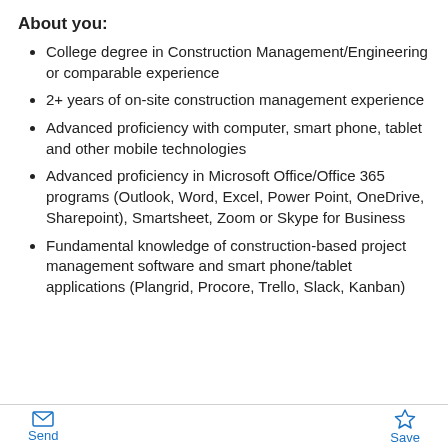About you:
College degree in Construction Management/Engineering or comparable experience
2+ years of on-site construction management experience
Advanced proficiency with computer, smart phone, tablet and other mobile technologies
Advanced proficiency in Microsoft Office/Office 365 programs (Outlook, Word, Excel, Power Point, OneDrive, Sharepoint), Smartsheet, Zoom or Skype for Business
Fundamental knowledge of construction-based project management software and smart phone/tablet applications (Plangrid, Procore, Trello, Slack, Kanban)
Send  Save